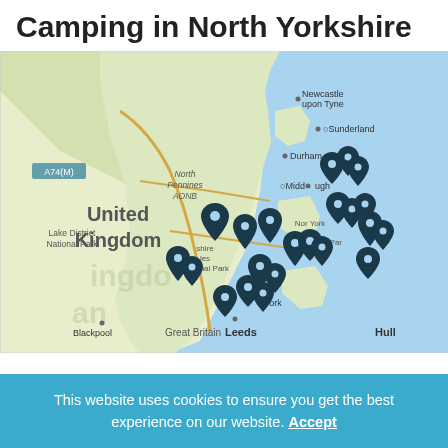Camping in North Yorkshire
[Figure (map): Google map showing North Yorkshire, England, UK. The map displays camping location pins (dark teal teardrop markers) clustered across North Yorkshire, including areas near the North York Moors National Park, Yorkshire Dales National Park, and the coast. Other visible place labels include Newcastle upon Tyne, Sunderland, Durham, Middlesbrough, Leeds, Hull, Blackpool, Lake District National Park, North Pennines AONB, and Great Britain. A road labelled A74(M) is visible on the left. The sea is shown in light blue to the right (North Sea).]
This website uses cookies to ensure you get the best experience on our website. Accept